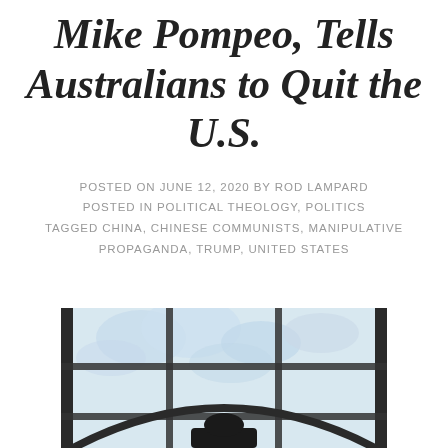Mike Pompeo, Tells Australians to Quit the U.S.
POSTED ON JUNE 12, 2020 BY ROD LAMPARD
POSTED IN POLITICAL THEOLOGY, POLITICS
TAGGED CHINA, CHINESE COMMUNISTS, MANIPULATIVE PROPAGANDA, TRUMP, UNITED STATES
[Figure (photo): Looking up through a glass dome or skylight with blue sky and clouds visible, dark metal frame structure, figure visible at bottom]